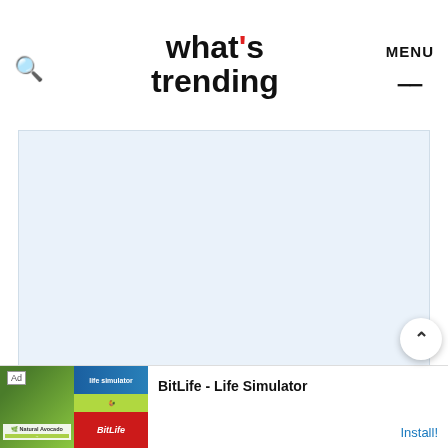what's trending
[Figure (other): Light blue placeholder rectangle for a video or image embed]
The first incident happened around the same time
[Figure (other): BitLife - Life Simulator advertisement banner with green and red imagery]